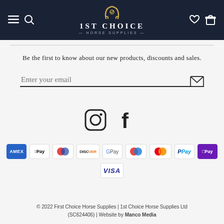[Figure (logo): 1st Choice Horse Supplies logo with horseshoe icon on dark navy header bar, including navigation icons (hamburger, search, heart, cart)]
Be the first to know about our new products, discounts and sales.
Enter your email
[Figure (infographic): Instagram and Facebook social media icons]
[Figure (infographic): Payment method badges: Amex, Apple Pay, Diners, Discover, Google Pay, Maestro, Mastercard, PayPal, OPay, Visa]
© 2022 First Choice Horse Supplies | 1st Choice Horse Supplies Ltd (SC624406) | Website by Manco Media